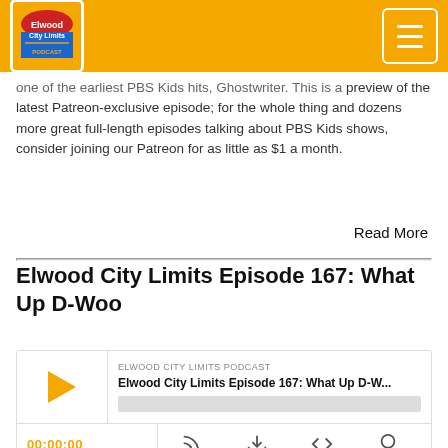Elwood City Limits (logo) — navigation header with orange background
one of the earliest PBS Kids hits, Ghostwriter. This is a preview of the latest Patreon-exclusive episode; for the whole thing and dozens more great full-length episodes talking about PBS Kids shows, consider joining our Patreon for as little as $1 a month.
Read More
Elwood City Limits Episode 167: What Up D-Woo
[Figure (other): Podcast audio player widget showing ELWOOD CITY LIMITS PODCAST label, episode title 'Elwood City Limits Episode 167: What Up D-W...', play button, progress bar, time display 00:00:00, and control icons]
Apr 2, 2022
Happy Wrestlemania weekend to all who celebrate (and